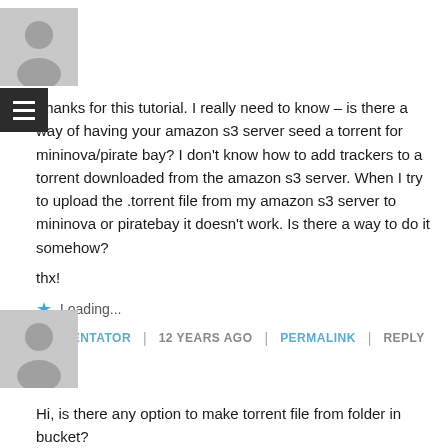[Figure (illustration): Gray avatar/user placeholder icon for first commenter]
Thanks for this tutorial. I really need to know – is there a way of having your amazon s3 server seed a torrent for mininova/pirate bay? I don't know how to add trackers to a torrent downloaded from the amazon s3 server. When I try to upload the .torrent file from my amazon s3 server to mininova or piratebay it doesn't work. Is there a way to do it somehow?
thx!
Loading...
TORRENTATOR | 12 YEARS AGO | PERMALINK | REPLY
[Figure (illustration): Gray avatar/user placeholder icon for second commenter]
Hi, is there any option to make torrent file from folder in bucket?
Loading...